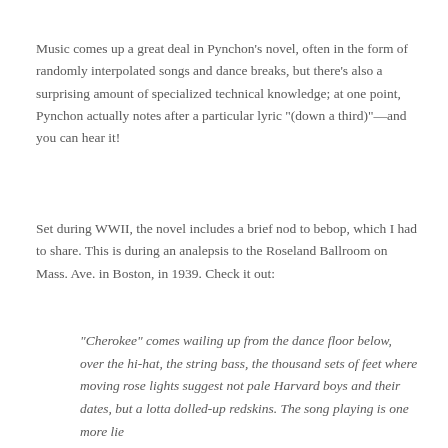Music comes up a great deal in Pynchon's novel, often in the form of randomly interpolated songs and dance breaks, but there's also a surprising amount of specialized technical knowledge; at one point, Pynchon actually notes after a particular lyric "(down a third)"—and you can hear it!
Set during WWII, the novel includes a brief nod to bebop, which I had to share. This is during an analepsis to the Roseland Ballroom on Mass. Ave. in Boston, in 1939. Check it out:
"Cherokee" comes wailing up from the dance floor below, over the hi-hat, the string bass, the thousand sets of feet where moving rose lights suggest not pale Harvard boys and their dates, but a lotta dolled-up redskins. The song playing is one more lie